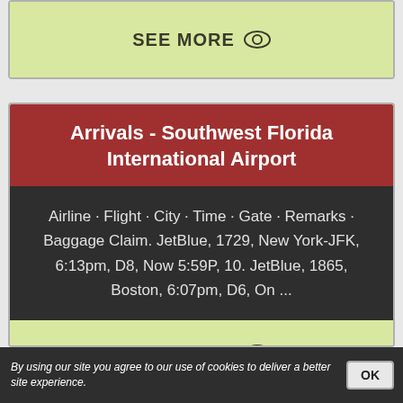[Figure (screenshot): SEE MORE button with eye icon on light yellow-green background]
Arrivals - Southwest Florida International Airport
Airline · Flight · City · Time · Gate · Remarks · Baggage Claim. JetBlue, 1729, New York-JFK, 6:13pm, D8, Now 5:59P, 10. JetBlue, 1865, Boston, 6:07pm, D6, On ...
[Figure (screenshot): SEE MORE button with eye icon on light yellow-green background]
By using our site you agree to our use of cookies to deliver a better site experience.